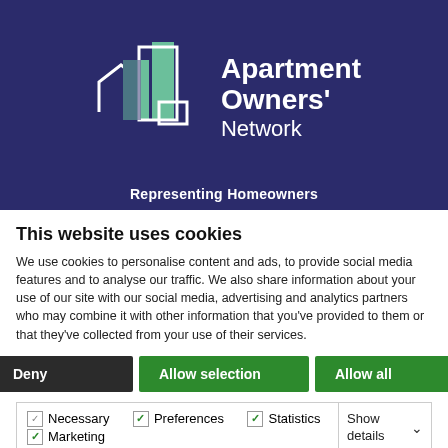[Figure (logo): Apartment Owners' Network logo on dark navy blue background, with stylized building icon in teal/green and white outlines. Text reads 'Apartment Owners' Network'. Below: 'Representing Homeowners']
This website uses cookies
We use cookies to personalise content and ads, to provide social media features and to analyse our traffic. We also share information about your use of our site with our social media, advertising and analytics partners who may combine it with other information that you've provided to them or that they've collected from your use of their services.
Deny | Allow selection | Allow all
Necessary  Preferences  Statistics  Marketing  Show details